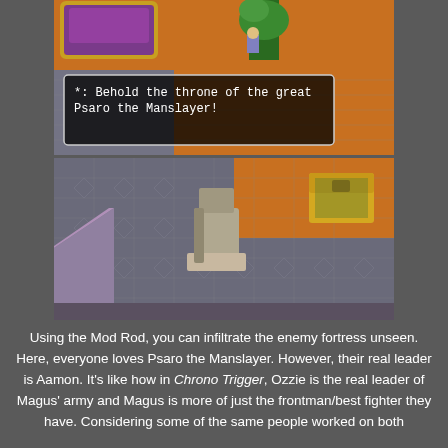[Figure (screenshot): Top screenshot from a JRPG (Dragon Quest IV) showing an isometric room with a purple throne/chair, orange carpet tiles, a character near a green plant, grey stone floor with diamond pattern tiles, and a dialogue box reading: '*: Behold the throne of the great Psaro the Manslayer!']
[Figure (screenshot): Bottom screenshot from a JRPG showing an isometric dungeon/castle interior with grey stone flooring, diamond pattern tiles, a stone pillar/pedestal in the center, a yellow treasure chest on the right side, orange carpet area, and a grey cliff/ramp on the left side.]
Using the Mod Rod, you can infiltrate the enemy fortress unseen. Here, everyone loves Psaro the Manslayer. However, their real leader is Aamon. It's like how in Chrono Trigger, Ozzie is the real leader of Magus' army and Magus is more of just the frontman/best fighter they have. Considering some of the same people worked on both